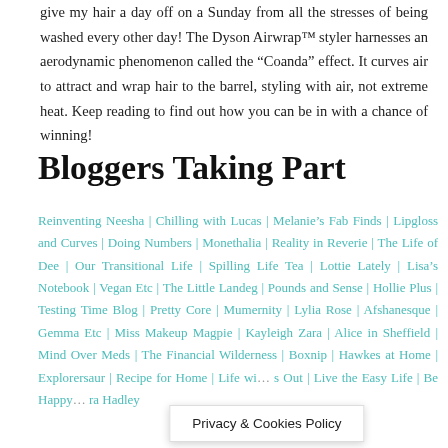give my hair a day off on a Sunday from all the stresses of being washed every other day! The Dyson Airwrap™ styler harnesses an aerodynamic phenomenon called the “Coanda” effect. It curves air to attract and wrap hair to the barrel, styling with air, not extreme heat. Keep reading to find out how you can be in with a chance of winning!
Bloggers Taking Part
Reinventing Neesha | Chilling with Lucas | Melanie’s Fab Finds | Lipgloss and Curves | Doing Numbers | Monethalia | Reality in Reverie | The Life of Dee | Our Transitional Life | Spilling Life Tea | Lottie Lately | Lisa’s Notebook | Vegan Etc | The Little Landeg | Pounds and Sense | Hollie Plus | Testing Time Blog | Pretty Core | Mumernity | Lylia Rose | Afshanesque | Gemma Etc | Miss Makeup Magpie | Kayleigh Zara | Alice in Sheffield | Mind Over Meds | The Financial Wilderness | Boxnip | Hawkes at Home | Explorersaur | Recipe for Home | Life wi... s Out | Live the Easy Life | Be Happy ... ra Hadley
Privacy & Cookies Policy